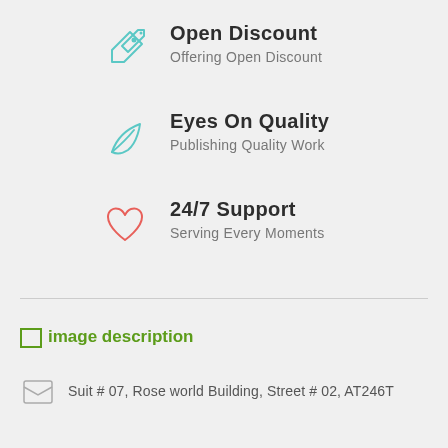Open Discount
Offering Open Discount
Eyes On Quality
Publishing Quality Work
24/7 Support
Serving Every Moments
[Figure (other): Broken image placeholder with alt text 'image description']
Suit # 07, Rose world Building, Street # 02, AT246T